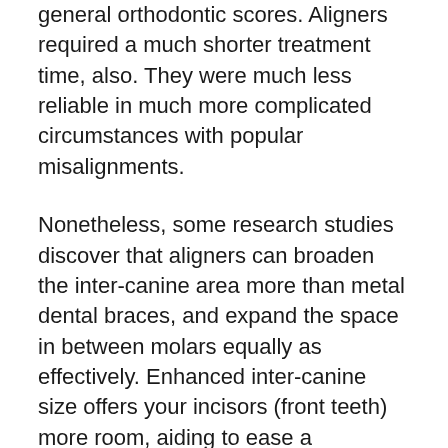general orthodontic scores. Aligners required a much shorter treatment time, also. They were much less reliable in much more complicated circumstances with popular misalignments.
Nonetheless, some research studies discover that aligners can broaden the inter-canine area more than metal dental braces, and expand the space in between molars equally as effectively. Enhanced inter-canine size offers your incisors (front teeth) more room, aiding to ease a congested mouth [1]
Clear aligners do not make it tough to consume chewy or crunchy foods. You have a reduced danger of dental cavity or periodontal condition, since you can remove...